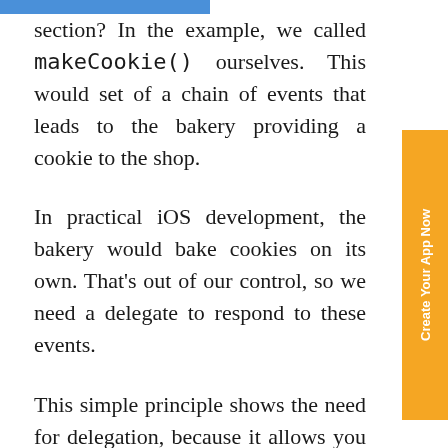section? In the example, we called makeCookie() ourselves. This would set of a chain of events that leads to the bakery providing a cookie to the shop.
In practical iOS development, the bakery would bake cookies on its own. That's out of our control, so we need a delegate to respond to these events.
This simple principle shows the need for delegation, because it allows you to hook into events and actions you have no control over.
Imagine you can't change the code in the Bakery class, just as you can't change the code in the CLLocationManager class. You can't tell it to bake a